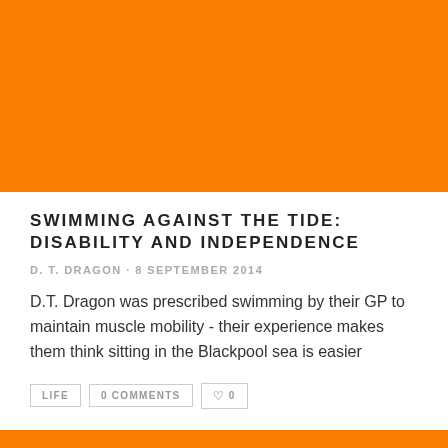[Figure (photo): Large orange/amber solid color rectangle image header]
SWIMMING AGAINST THE TIDE: DISABILITY AND INDEPENDENCE
D. T. DRAGON · 8 SEPTEMBER 2014
D.T. Dragon was prescribed swimming by their GP to maintain muscle mobility - their experience makes them think sitting in the Blackpool sea is easier
LIFE   0 COMMENTS   ♡ 0